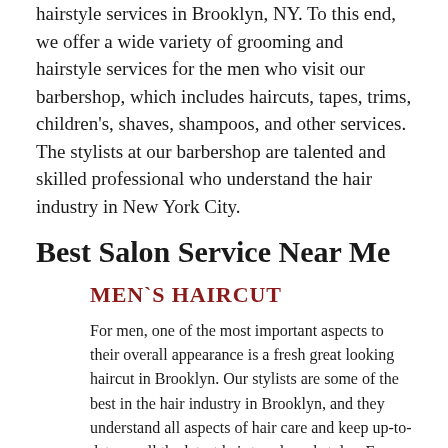hairstyle services in Brooklyn, NY. To this end, we offer a wide variety of grooming and hairstyle services for the men who visit our barbershop, which includes haircuts, tapes, trims, children's, shaves, shampoos, and other services. The stylists at our barbershop are talented and skilled professional who understand the hair industry in New York City.
Best Salon Service Near Me
MEN`S HAIRCUT
For men, one of the most important aspects to their overall appearance is a fresh great looking haircut in Brooklyn. Our stylists are some of the best in the hair industry in Brooklyn, and they understand all aspects of hair care and keep up-to-date on all the latest hair trends and styles. From the New York traditional to the latest trendy haircut, our stylists can provide the desired haircut in the exact